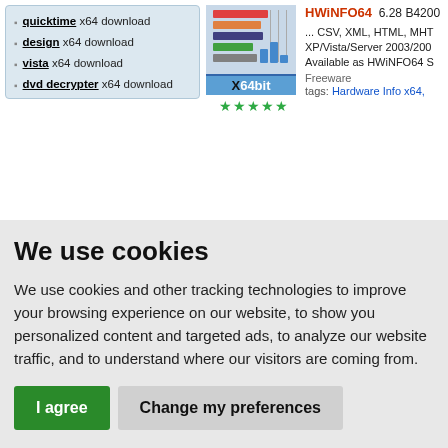quicktime x64 download
design x64 download
vista x64 download
dvd decrypter x64 download
[Figure (screenshot): HWiNFO64 software listing with app icon showing horizontal bars and bar chart, X64bit badge, and star rating]
HWiNFO64 6.28 B4200 ... CSV, XML, HTML, MHT XP/Vista/Server 2003/200 Available as HWiNFO64 S Freeware tags: Hardware Info x64,
We use cookies
We use cookies and other tracking technologies to improve your browsing experience on our website, to show you personalized content and targeted ads, to analyze our website traffic, and to understand where our visitors are coming from.
I agree
Change my preferences